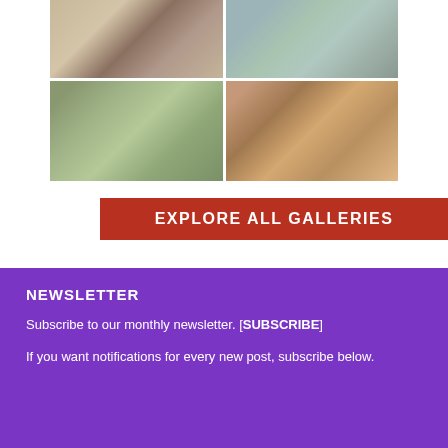[Figure (photo): Grid of four tiny house interior photos: kitchen with stovetop, bedroom with blue bedding, living area with wooden details and windows, and decorative lamp/decor area. Below the photos is a red banner reading EXPLORE ALL GALLERIES.]
NEWSLETTER
Subscribe to our monthly newsletter. [SUBSCRIBE]
If you want notifications for every new post, subscribe below.